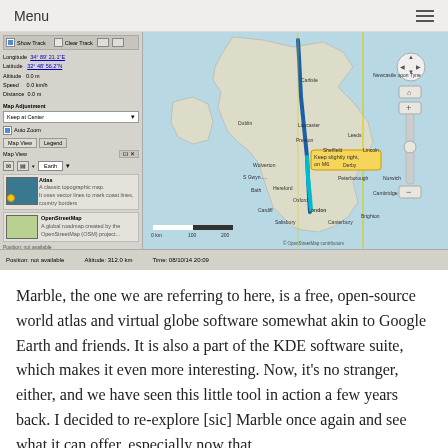Menu
[Figure (screenshot): Screenshot of the Marble virtual globe/map application showing a route through Great Britain (from Scotland down to London area) with a left panel showing GPS coordinates, map controls, Atlas and OpenStreetMap tile options, and a tooltip saying 'Keep slightly right, on M6'.]
Marble, the one we are referring to here, is a free, open-source world atlas and virtual globe software somewhat akin to Google Earth and friends. It is also a part of the KDE software suite, which makes it even more interesting. Now, it's no stranger, either, and we have seen this little tool in action a few years back. I decided to re-explore [sic] Marble once again and see what it can offer, especially now that